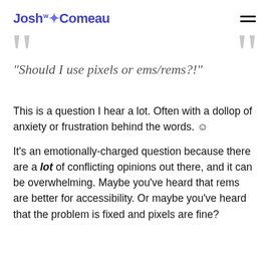Josh W Comeau
"Should I use pixels or ems/rems?!"
This is a question I hear a lot. Often with a dollop of anxiety or frustration behind the words. 😊
It's an emotionally-charged question because there are a lot of conflicting opinions out there, and it can be overwhelming. Maybe you've heard that rems are better for accessibility. Or maybe you've heard that the problem is fixed and pixels are fine?